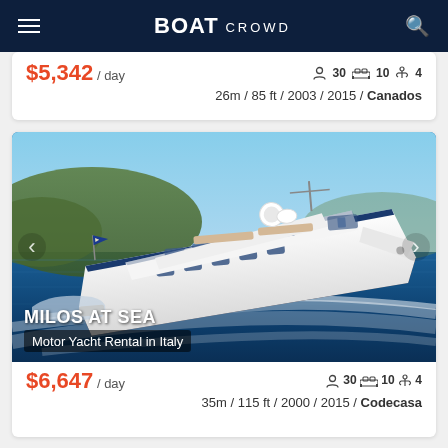BOAT CROWD
$5,342 / day  🧑30 🛏10 ⚓4  26m / 85 ft / 2003 / 2015 / Canados
[Figure (photo): Aerial/side view of white motor yacht named MILOS AT SEA sailing on blue Mediterranean sea with rocky coastline in background]
MILOS AT SEA
Motor Yacht Rental in Italy
$6,647 / day  🧑30 🛏10 ⚓4  35m / 115 ft / 2000 / 2015 / Codecasa